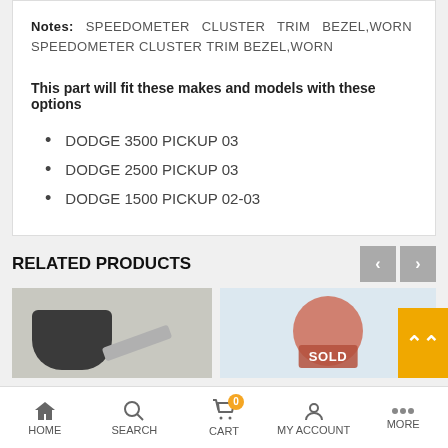Notes: SPEEDOMETER CLUSTER TRIM BEZEL,WORN SPEEDOMETER CLUSTER TRIM BEZEL,WORN
This part will fit these makes and models with these options
DODGE 3500 PICKUP 03
DODGE 2500 PICKUP 03
DODGE 1500 PICKUP 02-03
RELATED PRODUCTS
[Figure (photo): Product photo - dark shaped auto part]
[Figure (photo): Product photo with SOLD badge]
HOME  SEARCH  CART 0  MY ACCOUNT  MORE